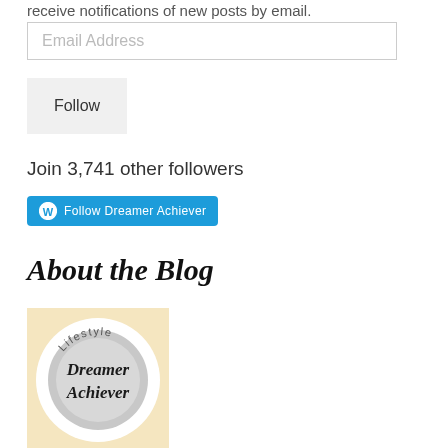receive notifications of new posts by email.
Email Address
Follow
Join 3,741 other followers
[Figure (other): WordPress Follow button — blue rounded rectangle with WordPress logo and text 'Follow Dreamer Achiever']
About the Blog
[Figure (illustration): Blog logo image: circular badge on a light yellow background with 'Lifestyle' text arced at top, 'Dreamer Achiever' text in the center on a grey circular area]